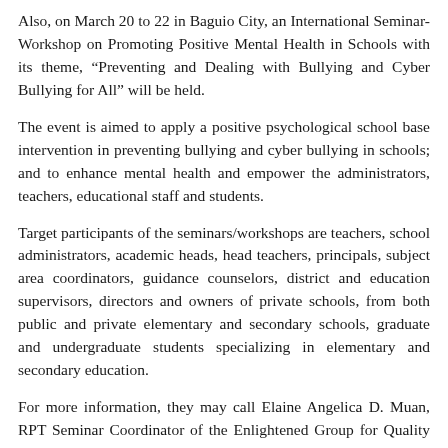Also, on March 20 to 22 in Baguio City, an International Seminar-Workshop on Promoting Positive Mental Health in Schools with its theme, “Preventing and Dealing with Bullying and Cyber Bullying for All” will be held.
The event is aimed to apply a positive psychological school base intervention in preventing bullying and cyber bullying in schools; and to enhance mental health and empower the administrators, teachers, educational staff and students.
Target participants of the seminars/workshops are teachers, school administrators, academic heads, head teachers, principals, subject area coordinators, guidance counselors, district and education supervisors, directors and owners of private schools, from both public and private elementary and secondary schools, graduate and undergraduate students specializing in elementary and secondary education.
For more information, they may call Elaine Angelica D. Muan, RPT Seminar Coordinator of the Enlightened Group for Quality and Excellence in Education Inc. at 0977-211-3155; 0920-211-9358; or 0942-488-9586, or email at